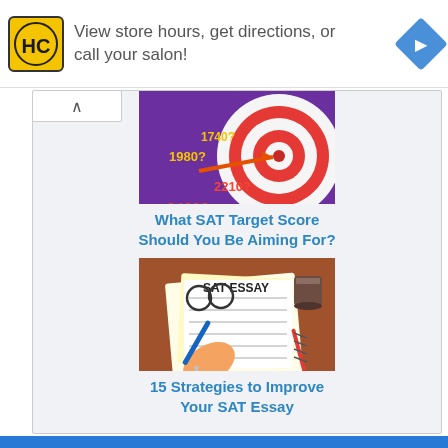[Figure (screenshot): Advertisement banner with HC (Hair Club) logo, text 'View store hours, get directions, or call your salon!', and a blue navigation diamond icon]
[Figure (illustration): SAT target score image showing a dartboard/bullseye with scores 1740?, 1980?, 2210?, 2400? on a purple background]
What SAT Target Score Should You Be Aiming For?
[Figure (illustration): SAT Essay illustration showing a hand writing on a paper labeled 'SAT ESSAY' with a pen, plus glasses and a coffee cup]
15 Strategies to Improve Your SAT Essay